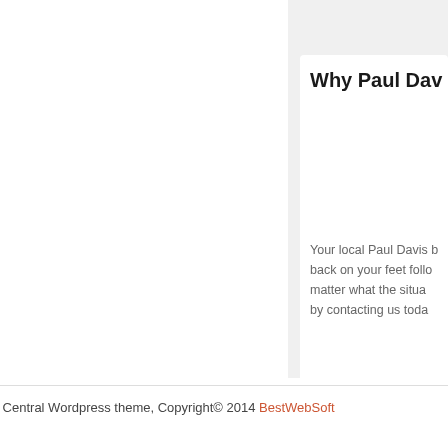Why Paul Dav
Your local Paul Davis b back on your feet follo matter what the situa by contacting us toda
Central Wordpress theme, Copyright© 2014 BestWebSoft